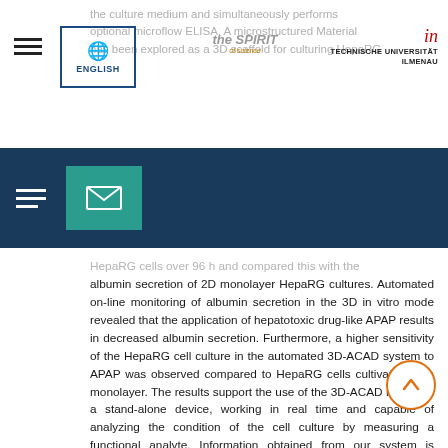the culture medium and simultaneously performs optional microflow ELISA. A microstructured Material has been explored as a 3D scaffold for culturing HepaRG
[Figure (logo): ENGLISH language selector button with globe icon]
[Figure (logo): The Spirit of Science logo]
[Figure (logo): Technische Universität Ilmenau logo]
[Figure (other): Navigation bar with hamburger menu and email icon on dark blue background]
HepaRG cells over 96 h and compared this with the albumin secretion of 2D monolayer HepaRG cultures. Automated on-line monitoring of albumin secretion in the 3D in vitro mode revealed that the application of hepatotoxic drug-like APAP results in decreased albumin secretion. Furthermore, a higher sensitivity of the HepaRG cell culture in the automated 3D-ACAD system to APAP was observed compared to HepaRG cells cultivated as a monolayer. The results support the use of the 3D-ACAD model as a stand-alone device, working in real time and capable of analyzing the condition of the cell culture by measuring a functional analyte. Information obtained from our system is compared with conventional cell culture and plate ELISA, the results of which are presented herein. ausblenden